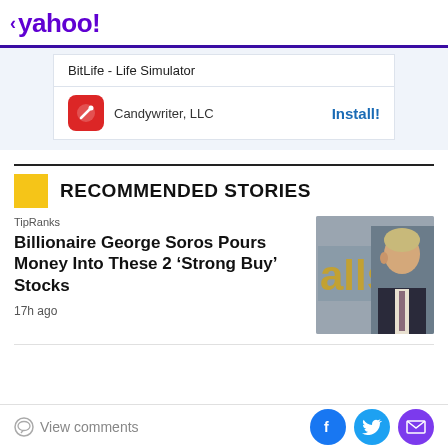< yahoo!
| BitLife - Life Simulator |
| Candywriter, LLC | Install! |
RECOMMENDED STORIES
TipRanks
Billionaire George Soros Pours Money Into These 2 ‘Strong Buy’ Stocks
17h ago
[Figure (photo): Photo of George Soros in front of a building with gold letters]
View comments